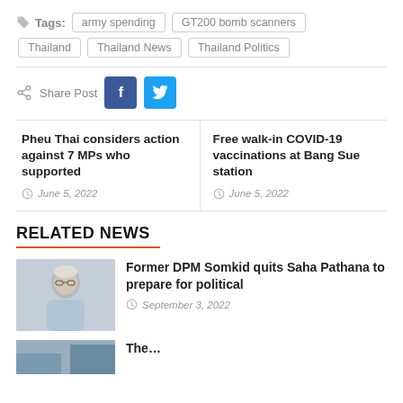Tags: army spending  GT200 bomb scanners  Thailand  Thailand News  Thailand Politics
Share Post [Facebook] [Twitter]
Pheu Thai considers action against 7 MPs who supported | June 5, 2022  |  Free walk-in COVID-19 vaccinations at Bang Sue station | June 5, 2022
RELATED NEWS
[Figure (photo): Photo of an older Asian man with white hair and glasses, wearing a light blue dress shirt, against a light gray background.]
Former DPM Somkid quits Saha Pathana to prepare for political — September 3, 2022
[Figure (photo): Partial photo visible at bottom of page, appears to show people outdoors.]
The… (article title cut off at bottom of page)